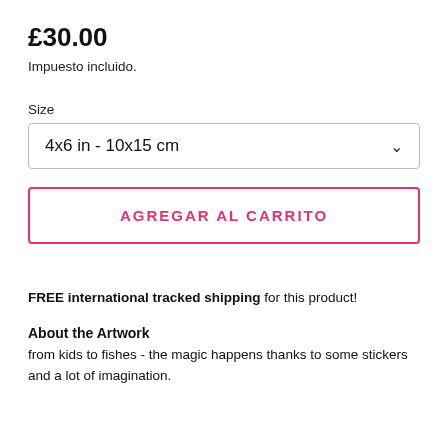£30.00
Impuesto incluido.
Size
4x6 in - 10x15 cm
AGREGAR AL CARRITO
FREE international tracked shipping for this product!
About the Artwork
from kids to fishes - the magic happens thanks to some stickers and a lot of imagination.